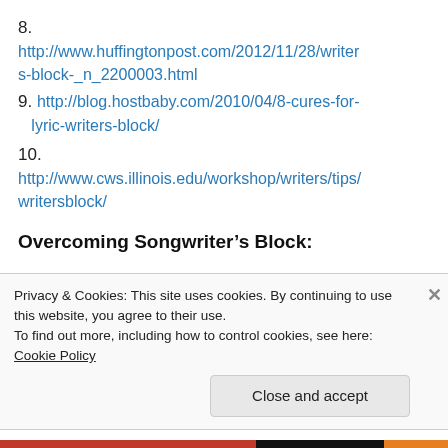8. http://www.huffingtonpost.com/2012/11/28/writers-block-_n_2200003.html
9. http://blog.hostbaby.com/2010/04/8-cures-for-lyric-writers-block/
10. http://www.cws.illinois.edu/workshop/writers/tips/writersblock/
Overcoming Songwriter’s Block:
1. http://...
Privacy & Cookies: This site uses cookies. By continuing to use this website, you agree to their use.
To find out more, including how to control cookies, see here: Cookie Policy
Close and accept